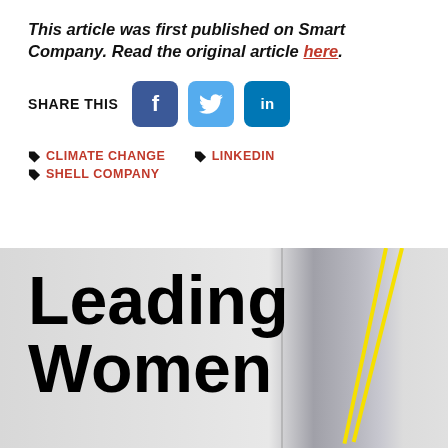This article was first published on Smart Company. Read the original article here.
[Figure (infographic): Share This row with Facebook, Twitter, and LinkedIn buttons]
CLIMATE CHANGE
LINKEDIN
SHELL COMPANY
[Figure (photo): Book cover showing 'Leading Women' text in large bold font on a light gray background with a yellow diagonal line accent]